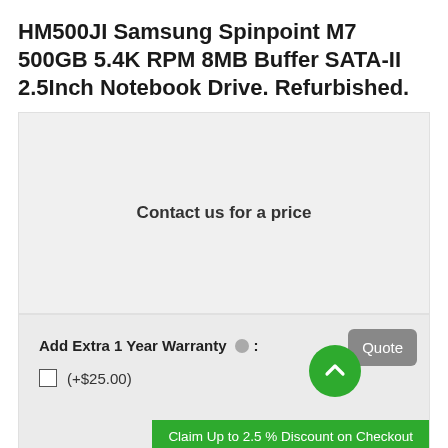HM500JI Samsung Spinpoint M7 500GB 5.4K RPM 8MB Buffer SATA-II 2.5Inch Notebook Drive. Refurbished.
Contact us for a price
Add Extra 1 Year Warranty : (+$25.00)
Claim Up to 2.5 % Discount on Checkout